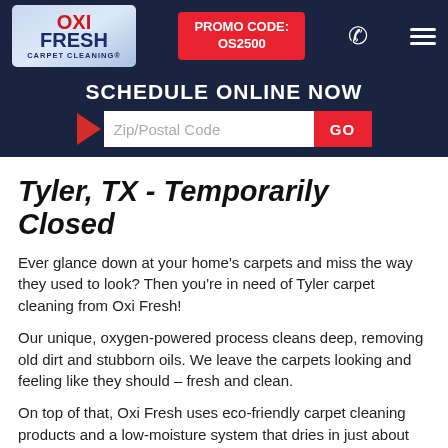[Figure (logo): Oxi Fresh Carpet Cleaning logo in blue and red]
PROMO CODE: OS2500
SCHEDULE ONLINE NOW
Tyler, TX - Temporarily Closed
Ever glance down at your home's carpets and miss the way they used to look? Then you're in need of Tyler carpet cleaning from Oxi Fresh!
Our unique, oxygen-powered process cleans deep, removing old dirt and stubborn oils. We leave the carpets looking and feeling like they should – fresh and clean.
On top of that, Oxi Fresh uses eco-friendly carpet cleaning products and a low-moisture system that dries in just about one hour. When you pick Oxi Fresh,